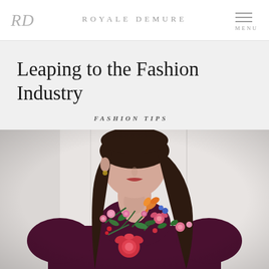RD  ROYALE DEMURE  MENU
Leaping to the Fashion Industry
FASHION TIPS
[Figure (photo): A woman wearing a dark burgundy/maroon dress with elaborate floral embroidery across the chest and shoulders, photographed from the shoulders up, facing slightly to the side, against a light background.]